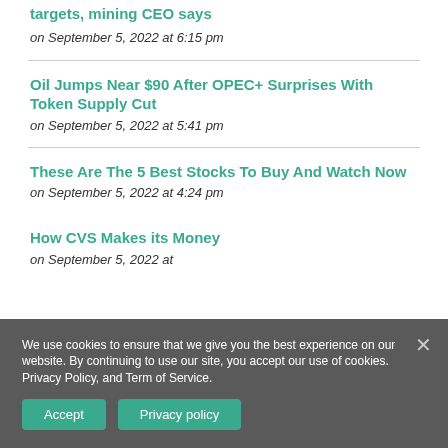targets, mining CEO says
on September 5, 2022 at 6:15 pm
Oil Jumps Near $90 After OPEC+ Surprises With Token Supply Cut
on September 5, 2022 at 5:41 pm
These Are The 5 Best Stocks To Buy And Watch Now
on September 5, 2022 at 4:24 pm
How CVS Makes its Money
on September 5, 2022 at
We use cookies to ensure that we give you the best experience on our website. By continuing to use our site, you accept our use of cookies. Privacy Policy, and Term of Service.